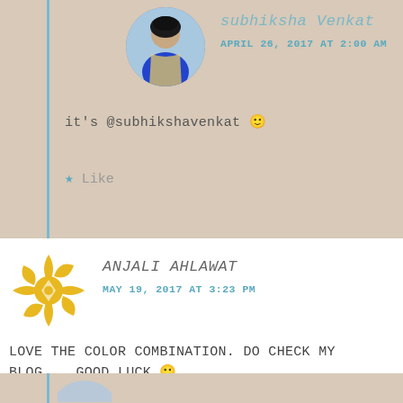[Figure (photo): Profile avatar of subhiksha Venkat - woman in blue dress, circular crop]
subhiksha Venkat
APRIL 26, 2017 AT 2:00 AM
it's @subhikshavenkat 🙂
★ Like
[Figure (logo): Yellow geometric avatar for Anjali Ahlawat]
ANJALI AHLAWAT
MAY 19, 2017 AT 3:23 PM
LOVE THE COLOR COMBINATION. DO CHECK MY BLOG .. GOOD LUCK 🙂
★ Liked by 1 person
REPLY